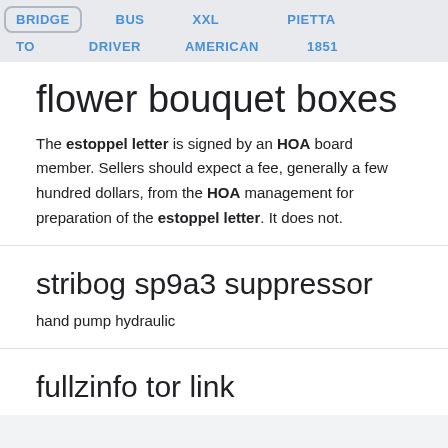BRIDGE  BUS  XXL  PIETTA
TO  DRIVER  AMERICAN  1851
flower bouquet boxes
The estoppel letter is signed by an HOA board member. Sellers should expect a fee, generally a few hundred dollars, from the HOA management for preparation of the estoppel letter. It does not.
stribog sp9a3 suppressor
hand pump hydraulic
fullzinfo tor link